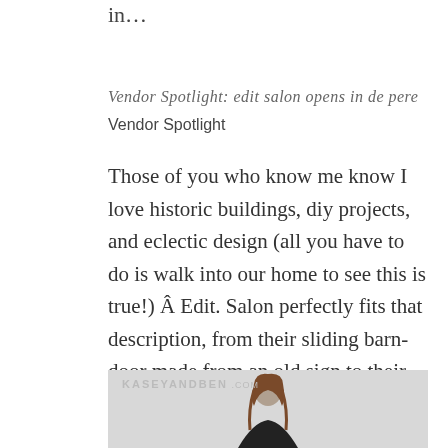in…
Vendor Spotlight: edit salon opens in de pere
Vendor Spotlight
Those of you who know me know I love historic buildings, diy projects, and eclectic design (all you have to do is walk into our home to see this is true!) Â Edit. Salon perfectly fits that description, from their sliding barn-door made from an old sign to their…
[Figure (photo): Photo of a woman smiling, with KASEYANDBEN.COM watermark in the upper left corner. Light gray background.]